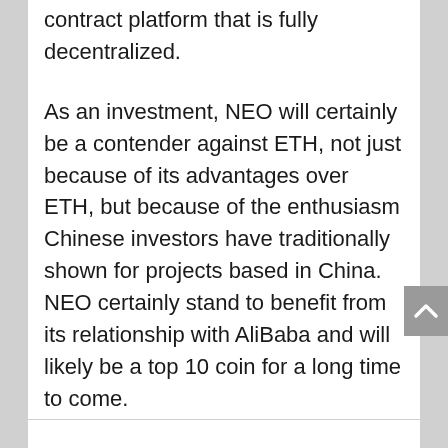contract platform that is fully decentralized.
As an investment, NEO will certainly be a contender against ETH, not just because of its advantages over ETH, but because of the enthusiasm Chinese investors have traditionally shown for projects based in China. NEO certainly stand to benefit from its relationship with AliBaba and will likely be a top 10 coin for a long time to come.